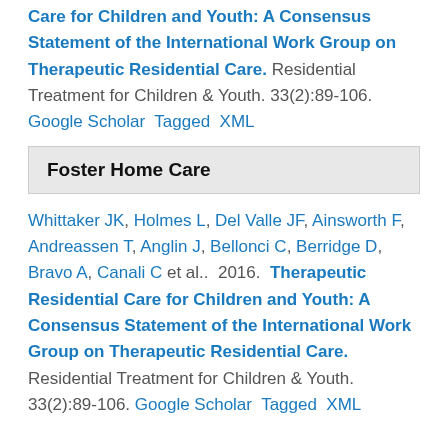Care for Children and Youth: A Consensus Statement of the International Work Group on Therapeutic Residential Care. Residential Treatment for Children & Youth. 33(2):89-106. Google Scholar Tagged XML
Foster Home Care
Whittaker JK, Holmes L, Del Valle JF, Ainsworth F, Andreassen T, Anglin J, Bellonci C, Berridge D, Bravo A, Canali C et al.. 2016. Therapeutic Residential Care for Children and Youth: A Consensus Statement of the International Work Group on Therapeutic Residential Care. Residential Treatment for Children & Youth. 33(2):89-106. Google Scholar Tagged XML